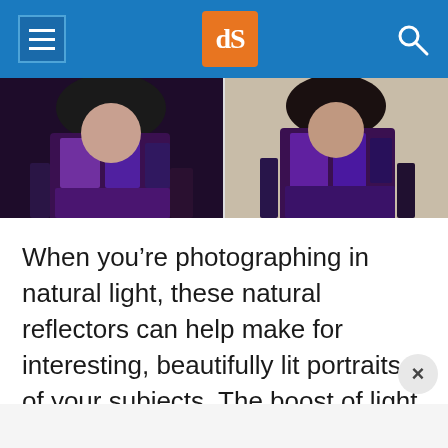dPS
[Figure (photo): Two side-by-side portrait photos of a woman wearing a purple floral dress, showing natural light photography examples]
When you’re photographing in natural light, these natural reflectors can help make for interesting, beautifully lit portraits of your subjects. The boost of light can get you out of shaded areas and allow you to shoot at all hours of the day without having to carry additional gear other than your camera.